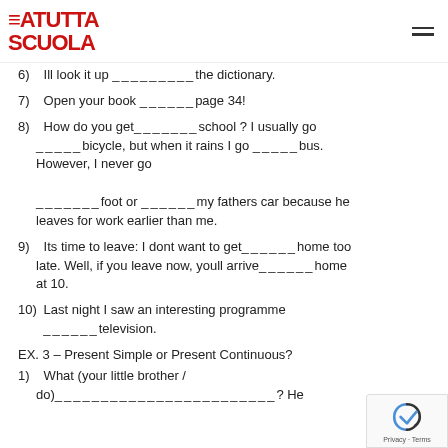[Figure (logo): EaTuttaScuola logo in red with strikethrough lines, top left]
6) Ill look it up _________the dictionary.
7) Open your book ______page 34!
8) How do you get_______school ? I usually go _____bicycle, but when it rains I go _____bus. However, I never go
_______foot or ______my fathers car because he leaves for work earlier than me.
9) Its time to leave: I dont want to get______home too late. Well, if you leave now, youll arrive______home at 10.
10) Last night I saw an interesting programme ______television.
EX. 3 – Present Simple or Present Continuous?
1) What (your little brother / do)________________________? He